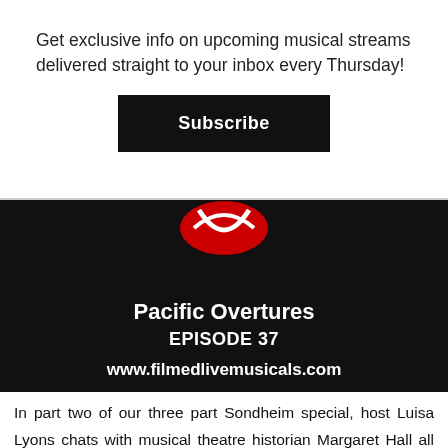Get exclusive info on upcoming musical streams delivered straight to your inbox every Thursday!
Subscribe
[Figure (screenshot): Black banner image showing Pacific Overtures podcast episode. Contains a red and white logo at top, bold white text 'Pacific Overtures', 'EPISODE 37', and 'www.filmedlivemusicals.com']
In part two of our three part Sondheim special, host Luisa Lyons chats with musical theatre historian Margaret Hall all about the filmed live musical Pacific Overtures. Topics include how the original Broadway production came to be filmed, and